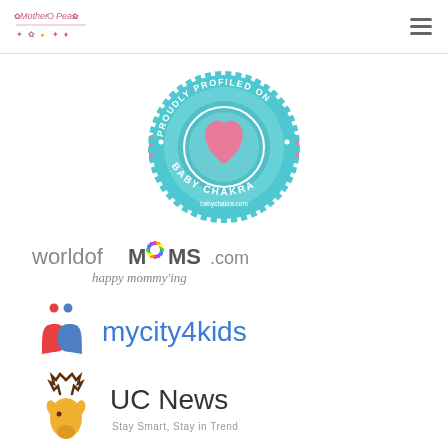Mother O Peas blog logo and hamburger menu
[Figure (logo): Baby Chakra badge: circular teal badge reading PROUDLY PROFILED ON BABY CHAKRA babychakra.com with a pink heart in the center and pink ribbon banners on each side]
[Figure (logo): worldofMOMS.com logo with colorful starburst O, tagline: happy mommy'ing]
[Figure (logo): mycity4kids logo with red and blue heart-people icon and blue text]
[Figure (logo): UC News logo with golden deer antler icon and text: UC News, Stay Smart, Stay in Trend]
Blog Topics